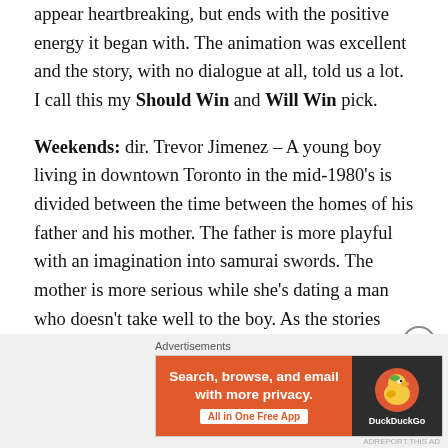appear heartbreaking, but ends with the positive energy it began with. The animation was excellent and the story, with no dialogue at all, told us a lot. I call this my Should Win and Will Win pick.
Weekends: dir. Trevor Jimenez – A young boy living in downtown Toronto in the mid-1980's is divided between the time between the homes of his father and his mother. The father is more playful with an imagination into samurai swords. The mother is more serious while she's dating a man who doesn't take well to the boy. As the stories shift between the two world, they become intertwined with the boy's dreams and the dreams tell a lot about the realities of
[Figure (other): DuckDuckGo advertisement banner: orange left section with text 'Search, browse, and email with more privacy. All in One Free App', dark right section with DuckDuckGo duck logo and brand name.]